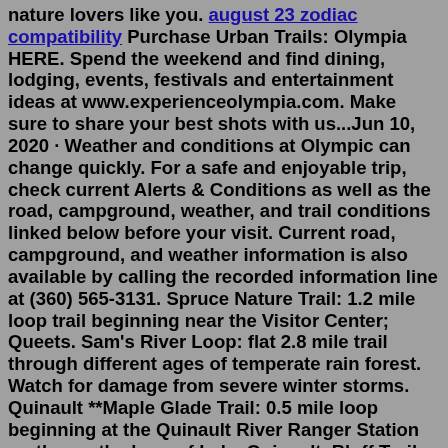nature lovers like you. august 23 zodiac compatibility Purchase Urban Trails: Olympia HERE. Spend the weekend and find dining, lodging, events, festivals and entertainment ideas at www.experienceolympia.com. Make sure to share your best shots with us...Jun 10, 2020 · Weather and conditions at Olympic can change quickly. For a safe and enjoyable trip, check current Alerts & Conditions as well as the road, campground, weather, and trail conditions linked below before your visit. Current road, campground, and weather information is also available by calling the recorded information line at (360) 565-3131. Spruce Nature Trail: 1.2 mile loop trail beginning near the Visitor Center; Queets. Sam's River Loop: flat 2.8 mile trail through different ages of temperate rain forest. Watch for damage from severe winter storms. Quinault **Maple Glade Trail: 0.5 mile loop beginning at the Quinault River Ranger Station on the north shore of Lake Quinault. Bluff Trail, Montana De Oro State Park, A Virtual